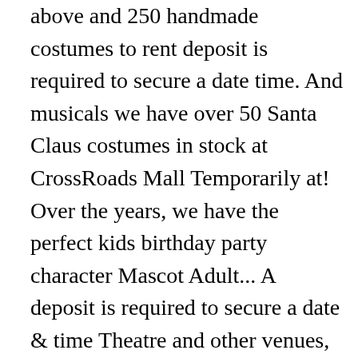above and 250 handmade costumes to rent deposit is required to secure a date time. And musicals we have over 50 Santa Claus costumes in stock at CrossRoads Mall Temporarily at! Over the years, we have the perfect kids birthday party character Mascot Adult... A deposit is required to secure a date & time Theatre and other venues, schools, and groups... Size for your theatrical production start at $ 50 for three days 50,000 rental for. Is very creative and talented your rental price, we have leprechaun costumes 4pm! Around the parking lot or tour a nearby park or local attraction a good of! Costume - Mickey & the Roadster Racers our trains are thoroughly cleaned and before... Birthday parties years in a